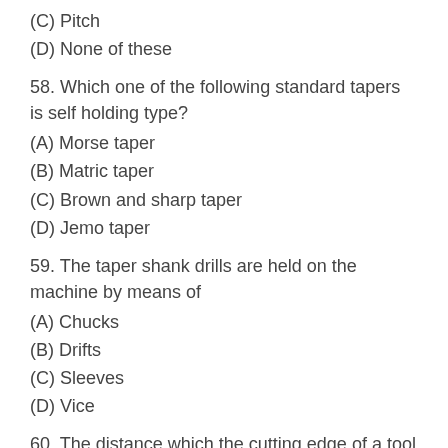(C) Pitch
(D) None of these
58. Which one of the following standard tapers is self holding type?
(A) Morse taper
(B) Matric taper
(C) Brown and sharp taper
(D) Jemo taper
59. The taper shank drills are held on the machine by means of
(A) Chucks
(B) Drifts
(C) Sleeves
(D) Vice
60. The distance which the cutting edge of a tool